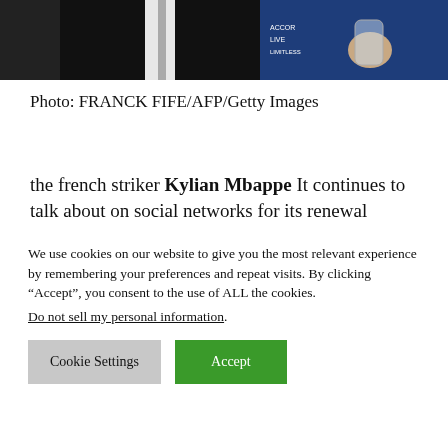[Figure (photo): Photo of Kylian Mbappe in a dark suit holding a glass, with a blue banner/backdrop in the background]
Photo: FRANCK FIFE/AFP/Getty Images
the french striker Kylian Mbappe It continues to talk about on social networks for its renewal
We use cookies on our website to give you the most relevant experience by remembering your preferences and repeat visits. By clicking “Accept”, you consent to the use of ALL the cookies. Do not sell my personal information.